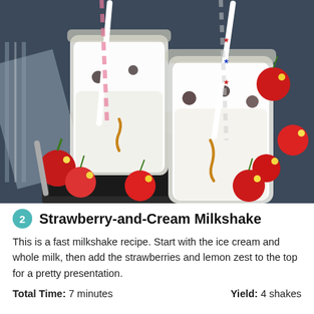[Figure (photo): Two mason jars filled with a milkshake drink with decorative paper straws, surrounded by red and yellow cherries on a dark blue fabric background with a checkered napkin.]
2 Strawberry-and-Cream Milkshake
This is a fast milkshake recipe. Start with the ice cream and whole milk, then add the strawberries and lemon zest to the top for a pretty presentation.
Total Time: 7 minutes    Yield: 4 shakes